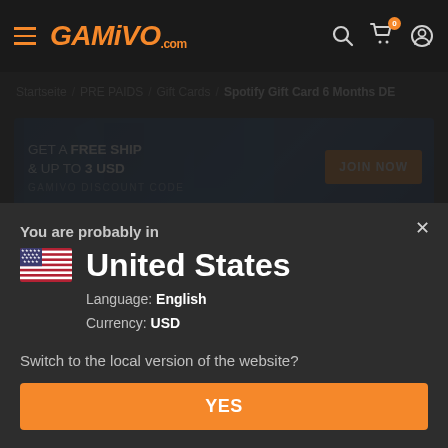GAMIVO.com navigation header with hamburger menu, logo, search, cart (0), and user icon
Startseite / PRE PAIDS / Gift Cards / Spotify Gift Card 6 Months DE
[Figure (screenshot): Promotional banner: GET A FREE SHIP & UP TO 3 USD — GAMIVO DISCOUNT CODE — JOIN NOW button]
You are probably in
United States
Language: English
Currency: USD
Switch to the local version of the website?
YES